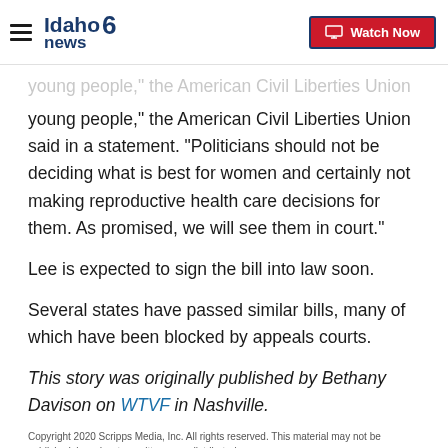Idaho News 6 | Watch Now
young people," the American Civil Liberties Union said in a statement. "Politicians should not be deciding what is best for women and certainly not making reproductive health care decisions for them. As promised, we will see them in court."
Lee is expected to sign the bill into law soon.
Several states have passed similar bills, many of which have been blocked by appeals courts.
This story was originally published by Bethany Davison on WTVF in Nashville.
Copyright 2020 Scripps Media, Inc. All rights reserved. This material may not be published, broadcast, rewritten, or redistributed.